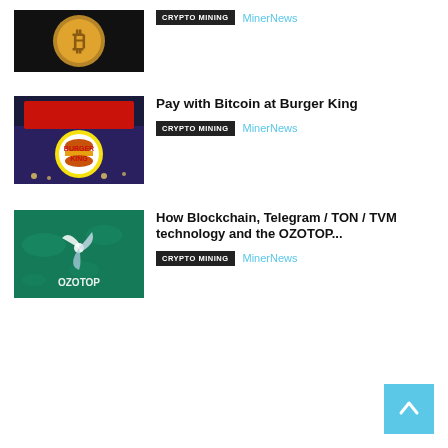[Figure (photo): Bitcoin gold coin on dark background]
CRYPTO MINING
MinerNews
[Figure (photo): Burger King restaurant sign with logo]
Pay with Bitcoin at Burger King
CRYPTO MINING
MinerNews
[Figure (photo): OZOTOP green technology graphic with spinner logo]
How Blockchain, Telegram / TON / TVM technology and the OZOTOP...
CRYPTO MINING
MinerNews